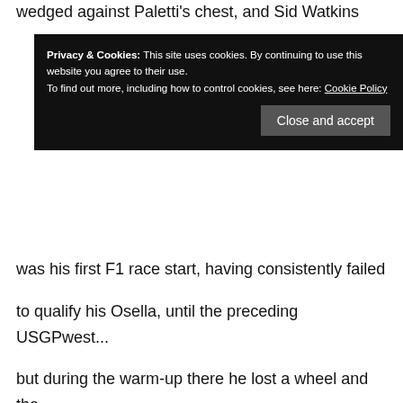wedged against Paletti's chest, and Sid Watkins c... h...
[Figure (screenshot): Cookie consent banner with black background. Text: 'Privacy & Cookies: This site uses cookies. By continuing to use this website you agree to their use. To find out more, including how to control cookies, see here: Cookie Policy'. Button: 'Close and accept'.]
was his first F1 race start, having consistently failed to qualify his Osella, until the preceding USGPwest... but during the warm-up there he lost a wheel and the mechanics worked feverishly to repair the car, before bringing out the spare. Meanwhile teammate Jean-Pierre Jarier's extinguisher had gone off... and he took the spare car. However... as the work was finished, and Paletti was about to join the grid, Jarier put the